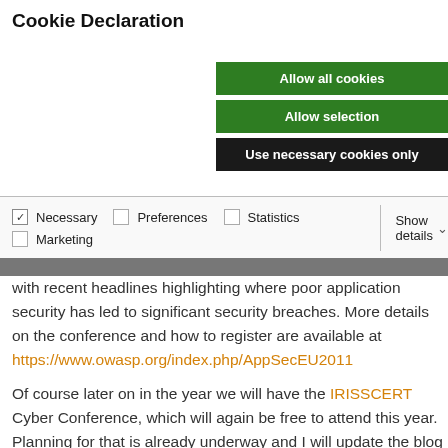Cookie Declaration
Allow all cookies
Allow selection
Use necessary cookies only
| Necessary | Preferences | Statistics | Marketing | Show details |
| --- | --- | --- | --- | --- |
with recent headlines highlighting where poor application security has led to significant security breaches. More details on the conference and how to register are available at https://www.owasp.org/index.php/AppSecEU2011
Of course later on in the year we will have the IRISSCERT Cyber Conference, which will again be free to attend this year. Planning for that is already underway and I will update the blog as they become